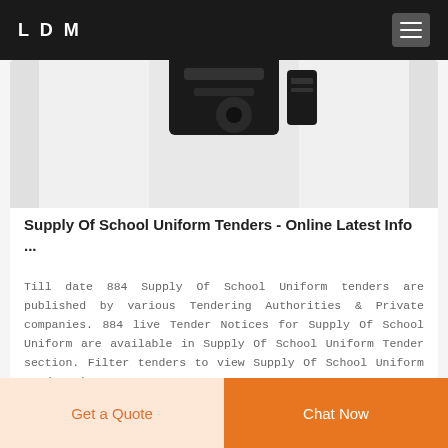LDM
[Figure (photo): Partial photo of a black electronic device (appears to be a turntable or similar equipment) on a light grey background]
Supply Of School Uniform Tenders - Online Latest Info ...
Till date 884 Supply Of School Uniform tenders are published by various Tendering Authorities & Private companies. 884 live Tender Notices for Supply Of School Uniform are available in Supply Of School Uniform Tender section. Filter tenders to view Supply Of School Uniform Tenders in
Get a Quote
Chat Now